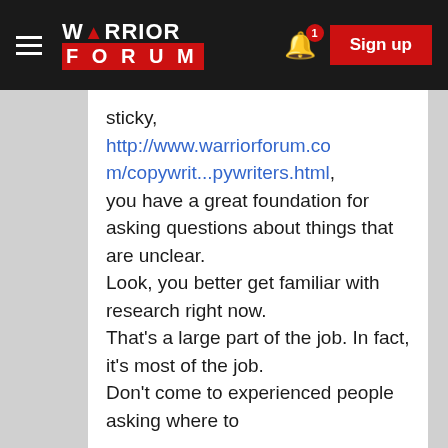Warrior Forum - Sign up
sticky, http://www.warriorforum.com/copywrit...pywriters.html, you have a great foundation for asking questions about things that are unclear.
Look, you better get familiar with research right now.
That's a large part of the job. In fact, it's most of the job.
Don't come to experienced people asking where to